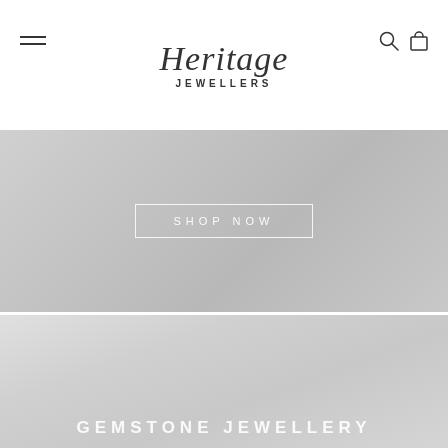Heritage Jewellers
[Figure (screenshot): Grey banner section with 'SHOP NOW' button in white outlined rectangle]
[Figure (screenshot): Large grey banner section with 'GEMSTONE JEWELLERY' text in white at the bottom]